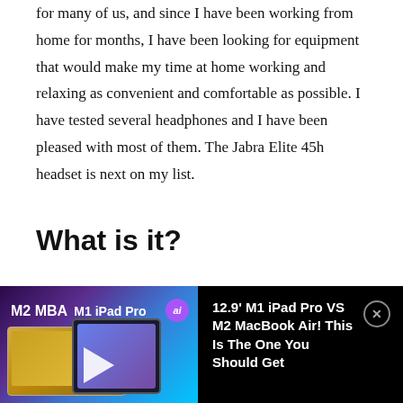for many of us, and since I have been working from home for months, I have been looking for equipment that would make my time at home working and relaxing as convenient and comfortable as possible. I have tested several headphones and I have been pleased with most of them. The Jabra Elite 45h headset is next on my list.
What is it?
The Jabra Elite 45h headset is an on-the-ear model that is foldable, lightweight, and compact. It features
[Figure (screenshot): Video player bar showing a thumbnail with M2 MBA and M1 iPad Pro text with a play button, and title '12.9' M1 iPad Pro VS M2 MacBook Air! This Is The One You Should Get' with a close button]